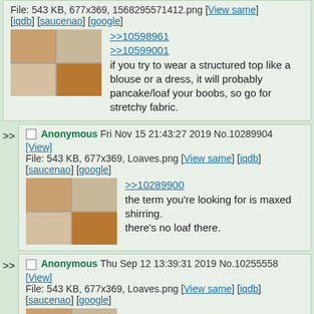File: 543 KB, 677x369, 1568295571412.png [View same] [iqdb] [saucenao] [google]
>>10598961
>>10599001
if you try to wear a structured top like a blouse or a dress, it will probably pancake/loaf your boobs, so go for stretchy fabric.
Anonymous Fri Nov 15 21:43:27 2019 No.10289904
[View]
File: 543 KB, 677x369, Loaves.png [View same] [iqdb] [saucenao] [google]
>>10289900
the term you're looking for is maxed shirring.
there's no loaf there.
Anonymous Thu Sep 12 13:39:31 2019 No.10255558
[View]
File: 543 KB, 677x369, Loaves.png [View same] [iqdb] [saucenao] [google]